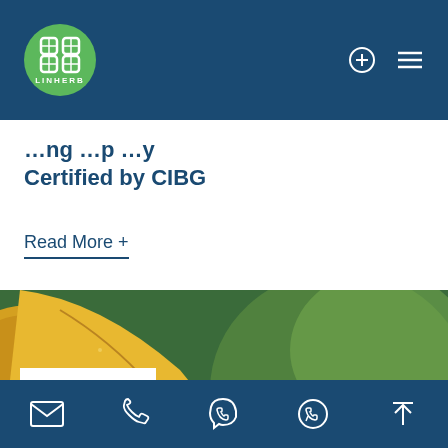LINHERB
Certified by CIBG
Read More +
[Figure (photo): Close-up photo of a dried herb/fruit slice (yellow-orange color) with blurred green background, with a date badge overlay reading May 27, 22]
Navigation icons: email, phone, viber, whatsapp, scroll to top